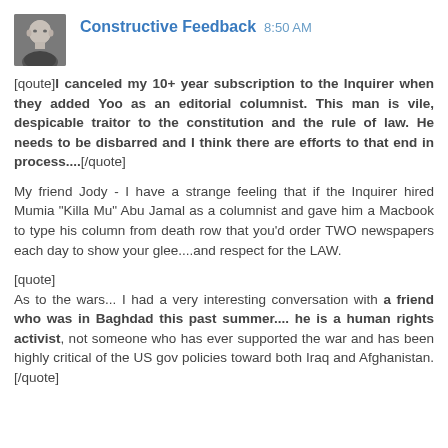Constructive Feedback  8:50 AM
[qoute]I canceled my 10+ year subscription to the Inquirer when they added Yoo as an editorial columnist. This man is vile, despicable traitor to the constitution and the rule of law. He needs to be disbarred and I think there are efforts to that end in process....[/quote]
My friend Jody - I have a strange feeling that if the Inquirer hired Mumia "Killa Mu" Abu Jamal as a columnist and gave him a Macbook to type his column from death row that you'd order TWO newspapers each day to show your glee....and respect for the LAW.
[quote]
As to the wars... I had a very interesting conversation with a friend who was in Baghdad this past summer.... he is a human rights activist, not someone who has ever supported the war and has been highly critical of the US gov policies toward both Iraq and Afghanistan.[/quote]